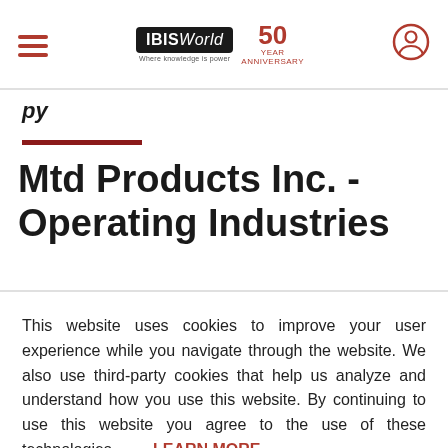IBISWorld 50th Anniversary
Mtd Products Inc. - Operating Industries
This website uses cookies to improve your user experience while you navigate through the website. We also use third-party cookies that help us analyze and understand how you use this website. By continuing to use this website you agree to the use of these technologies.
LEARN MORE
ACCEPT